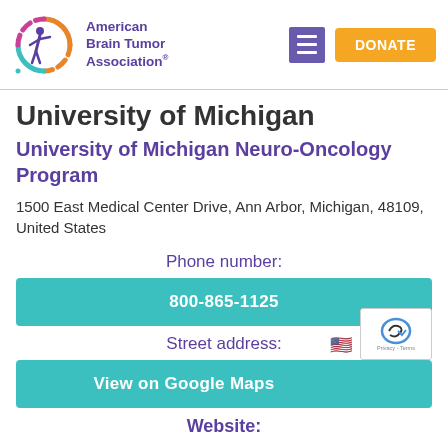[Figure (logo): American Brain Tumor Association logo with colorful circular arc and figure, purple text]
University of Michigan
University of Michigan Neuro-Oncology Program
1500 East Medical Center Drive, Ann Arbor, Michigan, 48109, United States
Phone number:
800-865-1125
Street address:
View on Google Maps
Website: